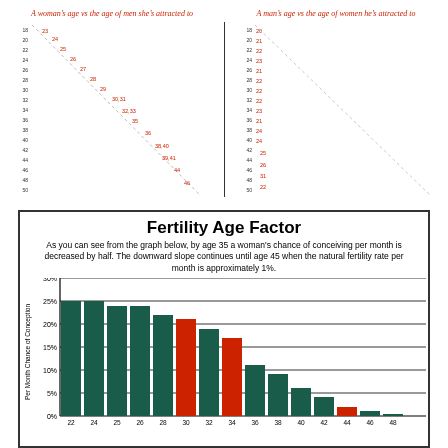[Figure (scatter-plot): Two scatter plots side by side. Left: A woman's age (y-axis) vs age of men she's attracted to (x-axis) - dotted diagonal line going down-right. Right: A man's age (y-axis) vs age of women he's attracted to (x-axis) - vertical cluster near young ages with dotted line going across.]
[Figure (bar-chart): Fertility Age Factor]